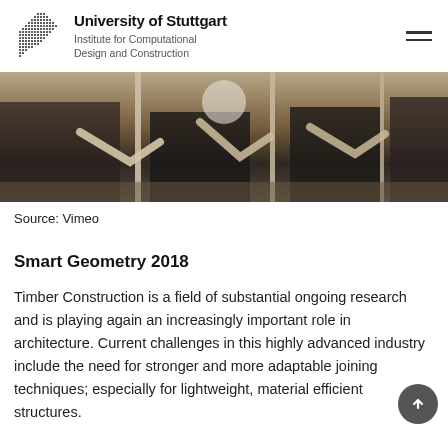University of Stuttgart — Institute for Computational Design and Construction
[Figure (photo): Close-up photograph of wooden structural joints or robotic timber construction elements, dark background, warm tones]
Source: Vimeo
Smart Geometry 2018
Timber Construction is a field of substantial ongoing research and is playing again an increasingly important role in architecture. Current challenges in this highly advanced industry include the need for stronger and more adaptable joining techniques; especially for lightweight, material efficient structures.